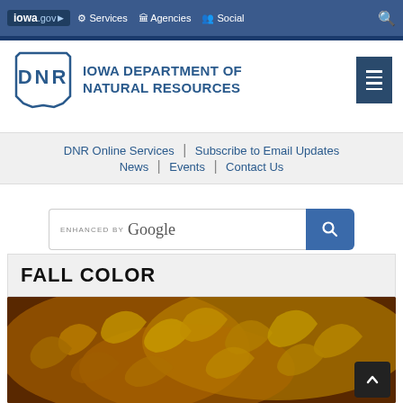iowa.gov | Services | Agencies | Social
[Figure (logo): Iowa DNR logo with DNR letters in a state outline shape, beside text IOWA DEPARTMENT OF NATURAL RESOURCES with hamburger menu icon]
DNR Online Services | Subscribe to Email Updates
News | Events | Contact Us
[Figure (screenshot): Search box with ENHANCED BY Google text and a blue search button with magnifying glass icon]
FALL COLOR
[Figure (photo): Fall foliage photo showing orange and golden autumn leaves backlit against a dark background]